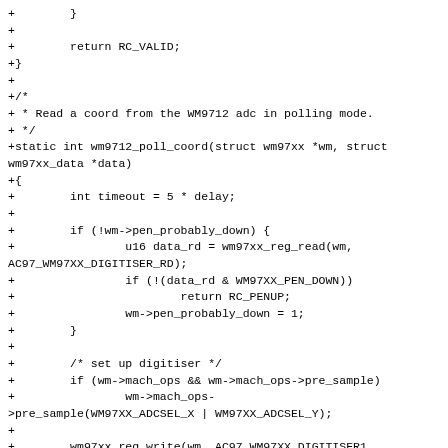Code diff showing wm9712_poll_coord function implementation in C